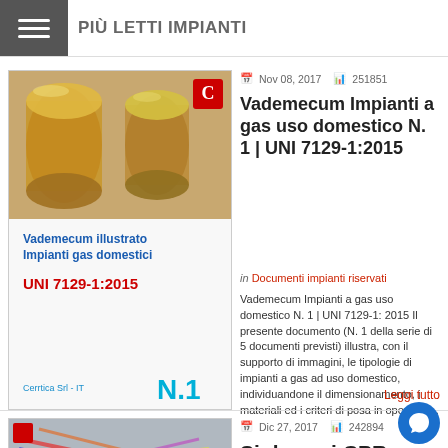PIÙ LETTI IMPIANTI
[Figure (illustration): Book cover: Vademecum illustrato Impianti gas domestici UNI 7129-1:2015, N.1, Cerrtica Srl - IT, showing copper/gold pipes]
Nov 08, 2017  251851
Vademecum Impianti a gas uso domestico N. 1 | UNI 7129-1:2015
in Documenti impianti riservati
Vademecum Impianti a gas uso domestico N. 1 | UNI 7129-1: 2015 Il presente documento (N. 1 della serie di 5 documenti previsti) illustra, con il supporto di immagini, le tipologie di impianti a gas ad uso domestico, individuandone il dimensionamento, i materiali ed i criteri di posa in opera, in…
Leggi tutto
[Figure (photo): Photo of electrical cables/wiring in an electrical panel]
Dic 27, 2017  242894
Sigle cavi CPR
in Documenti impianti riservati
Sigle cavi CPR: Raccordo normativo CPR ID 5332 | Rev. 1.0 del 30.04.2019 | Documento